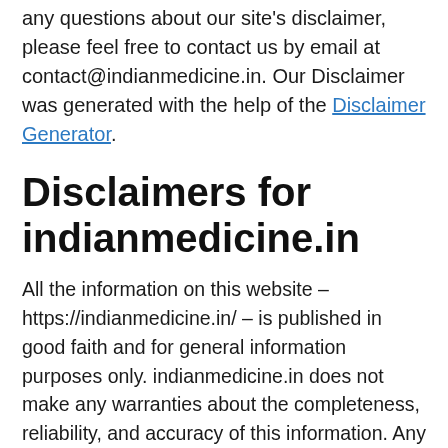any questions about our site's disclaimer, please feel free to contact us by email at contact@indianmedicine.in. Our Disclaimer was generated with the help of the Disclaimer Generator.
Disclaimers for indianmedicine.in
All the information on this website – https://indianmedicine.in/ – is published in good faith and for general information purposes only. indianmedicine.in does not make any warranties about the completeness, reliability, and accuracy of this information. Any action you take upon the information you find on this website